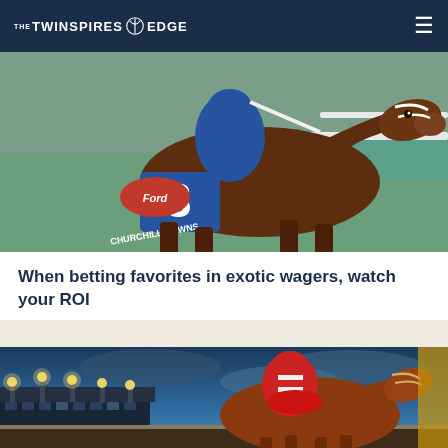THE TWINSPIRES EDGE
[Figure (photo): Horse racing photo at Churchill Downs — jockey riding horse number 3 with blue saddle cloth, Ford sponsor logo visible, close-up of horse and rider at the track]
When betting favorites in exotic wagers, watch your ROI
[Figure (photo): Horse racing photo at night — jockey in red and white silks riding a chestnut horse at a racetrack with stadium lights in the background under a dramatic blue cloudy sky]